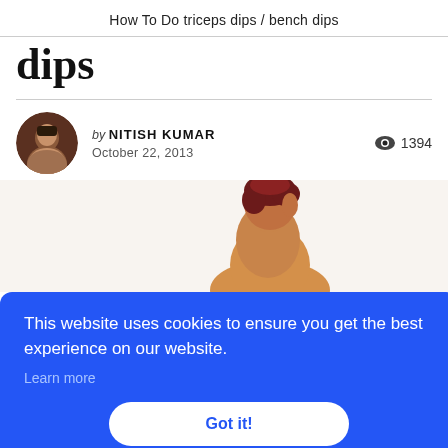How To Do triceps dips / bench dips
dips
by NITISH KUMAR
October 22, 2013
👁 1394
[Figure (photo): Woman doing bench dips exercise, side profile, dark red short hair, bare back]
This website uses cookies to ensure you get the best experience on our website.
Learn more
Got it!
***Double Vid*** Tricep Dip Techni...